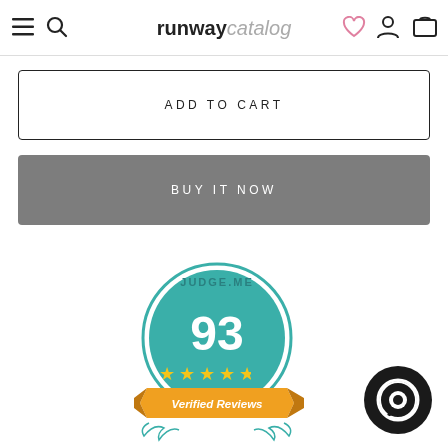runway catalog — navigation header with hamburger menu, search, logo, wishlist, account, cart icons
ADD TO CART
BUY IT NOW
[Figure (logo): Judge.me Verified Reviews badge: teal circular badge with '93' in large white text, 4.5 yellow stars, orange ribbon banner reading 'Verified Reviews', teal laurel wreath at bottom, 'JUDGE.ME' text at top]
[Figure (logo): Dark circular chat/messaging button icon in bottom right corner]